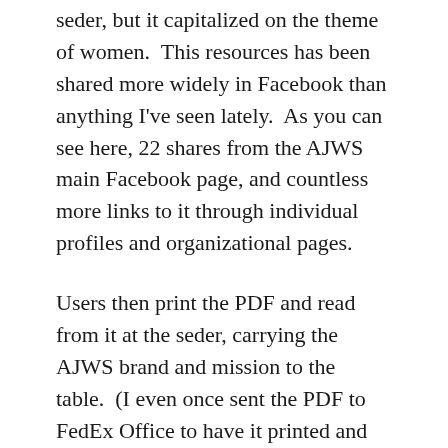seder, but it capitalized on the theme of women.  This resources has been shared more widely in Facebook than anything I've seen lately.  As you can see here, 22 shares from the AJWS main Facebook page, and countless more links to it through individual profiles and organizational pages.
Users then print the PDF and read from it at the seder, carrying the AJWS brand and mission to the table.  (I even once sent the PDF to FedEx Office to have it printed and laminated to use year after year.)  AJWS leverages the alignment of their mission with opportunity of the seder, and offers value to the audience by bringing a highly relevant and much adored